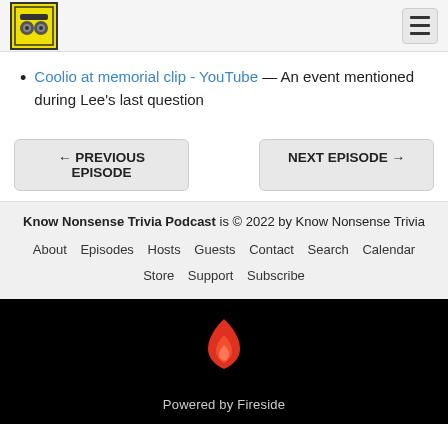Know Nonsense Trivia Podcast logo and hamburger menu
Coolio at memorial clip - YouTube — An event mentioned during Lee's last question
← PREVIOUS EPISODE    NEXT EPISODE →
Know Nonsense Trivia Podcast is © 2022 by Know Nonsense Trivia. About · Episodes · Hosts · Guests · Contact · Search · Calendar · Store · Support · Subscribe
[Figure (logo): Fireside flame logo in red/orange on black background, with text 'Powered by Fireside']